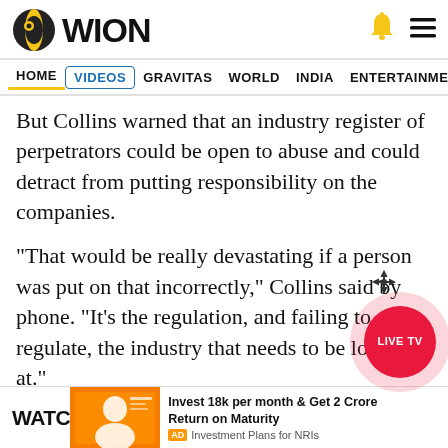[Figure (logo): WION news logo with circular yellow/black globe icon and bold WION text]
HOME  VIDEOS  GRAVITAS  WORLD  INDIA  ENTERTAINMENT  SPORTS
But Collins warned that an industry register of perpetrators could be open to abuse and could detract from putting responsibility on the companies.
"That would be really devastating if a person was put on that incorrectly," Collins said by phone. "It's the regulation, and failing to regulate, the industry that needs to be looked at."
WATC
[Figure (infographic): Advertisement banner: Invest 18k per month & Get 2 Crore Return on Maturity. AD Investment Plans for NRIs]
[Figure (other): LIVE TV red circular button]